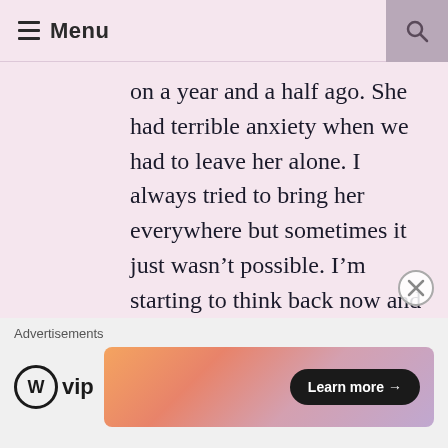≡ Menu
on a year and a half ago. She had terrible anxiety when we had to leave her alone. I always tried to bring her everywhere but sometimes it just wasn't possible. I'm starting to think back now and I wonder if I might have been picking up on that as well.
Advertisements
[Figure (logo): WordPress VIP logo with circle W and 'vip' text]
[Figure (infographic): Advertisement banner with gradient background and 'Learn more →' button]